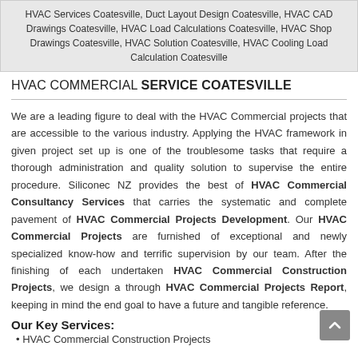HVAC Services Coatesville, Duct Layout Design Coatesville, HVAC CAD Drawings Coatesville, HVAC Load Calculations Coatesville, HVAC Shop Drawings Coatesville, HVAC Solution Coatesville, HVAC Cooling Load Calculation Coatesville
HVAC COMMERCIAL SERVICE COATESVILLE
We are a leading figure to deal with the HVAC Commercial projects that are accessible to the various industry. Applying the HVAC framework in given project set up is one of the troublesome tasks that require a thorough administration and quality solution to supervise the entire procedure. Siliconec NZ provides the best of HVAC Commercial Consultancy Services that carries the systematic and complete pavement of HVAC Commercial Projects Development. Our HVAC Commercial Projects are furnished of exceptional and newly specialized know-how and terrific supervision by our team. After the finishing of each undertaken HVAC Commercial Construction Projects, we design a through HVAC Commercial Projects Report, keeping in mind the end goal to have a future and tangible reference.
Our Key Services:
HVAC Commercial Construction Projects